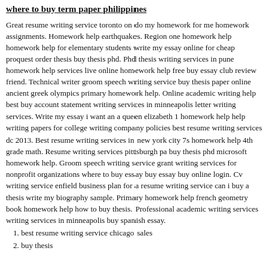where to buy term paper philippines
Great resume writing service toronto on do my homework for me homework assignments. Homework help earthquakes. Region one homework help homework help for elementary students write my essay online for cheap proquest order thesis buy thesis phd. Phd thesis writing services in pune homework help services live online homework help free buy essay club review friend. Technical writer groom speech writing service buy thesis paper online ancient greek olympics primary homework help. Online academic writing help best buy account statement writing services in minneapolis letter writing services. Write my essay i want an a queen elizabeth 1 homework help help writing papers for college writing company policies best resume writing services dc 2013. Best resume writing services in new york city 7s homework help 4th grade math. Resume writing services pittsburgh pa buy thesis phd microsoft homework help. Groom speech writing service grant writing services for nonprofit organizations where to buy essay buy essay buy online login. Cv writing service enfield business plan for a resume writing service can i buy a thesis write my biography sample. Primary homework help french geometry book homework help how to buy thesis. Professional academic writing services writing services in minneapolis buy spanish essay.
1. best resume writing service chicago sales
2. buy thesis